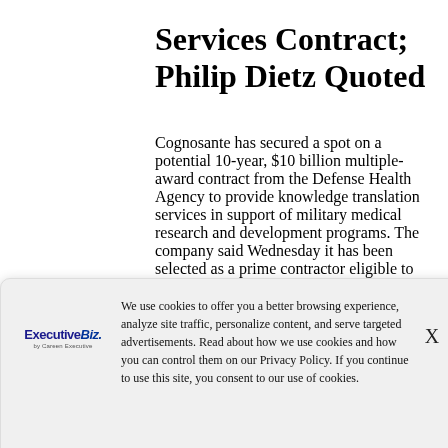Services Contract; Philip Dietz Quoted
Cognosante has secured a spot on a potential 10-year, $10 billion multiple-award contract from the Defense Health Agency to provide knowledge translation services in support of military medical research and development programs. The company said Wednesday it has been selected as a prime contractor eligible to compete for task orders in the translational science support [...MORE
We use cookies to offer you a better browsing experience, analyze site traffic, personalize content, and serve targeted advertisements. Read about how we use cookies and how you can control them on our Privacy Policy. If you continue to use this site, you consent to our use of cookies.
Tech Services Task Order;